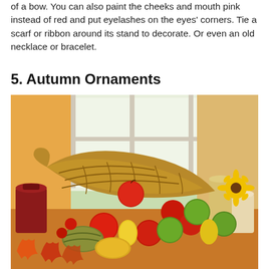of a bow. You can also paint the cheeks and mouth pink instead of red and put eyelashes on the eyes' corners. Tie a scarf or ribbon around its stand to decorate. Or even an old necklace or bracelet.
5. Autumn Ornaments
[Figure (photo): A cornucopia/horn of plenty wicker basket overflowing with autumn fruits and vegetables including red apples, green apples, yellow pears, green and yellow squash, and gourds, arranged on a table decorated with fall maple leaves. Candles of various colors (red, cream, yellow) and a sunflower are visible in the background along with a bright window.]